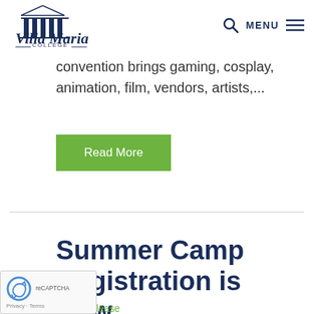Villa Maria College — MENU
convention brings gaming, cosplay, animation, film, vendors, artists,...
Read More
Summer Camp Registration is Now Open!
Press Release